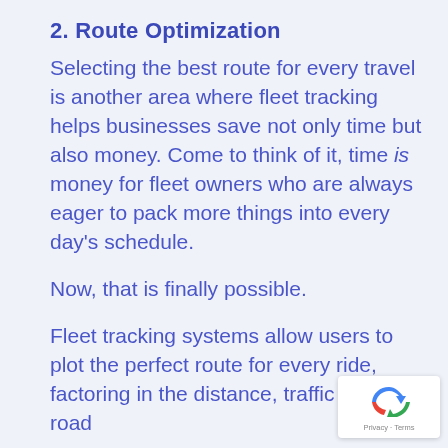2. Route Optimization
Selecting the best route for every travel is another area where fleet tracking helps businesses save not only time but also money. Come to think of it, time is money for fleet owners who are always eager to pack more things into every day’s schedule.
Now, that is finally possible.
Fleet tracking systems allow users to plot the perfect route for every ride, factoring in the distance, traffic density, road